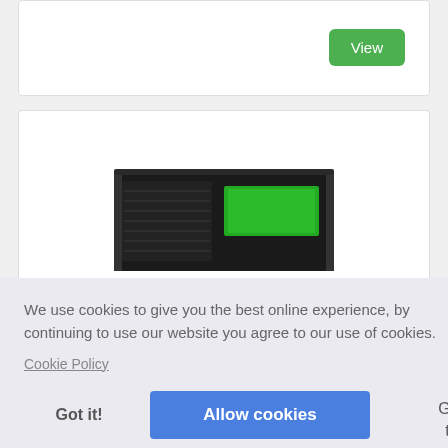View
[Figure (photo): A rack-mounted electronic device (black server/UPS unit) with front panel showing ventilation grilles and a small LCD display]
We use cookies to give you the best online experience, by continuing to use our website you agree to our use of cookies.
Cookie Policy
Got it!
Allow cookies
GPS
tum